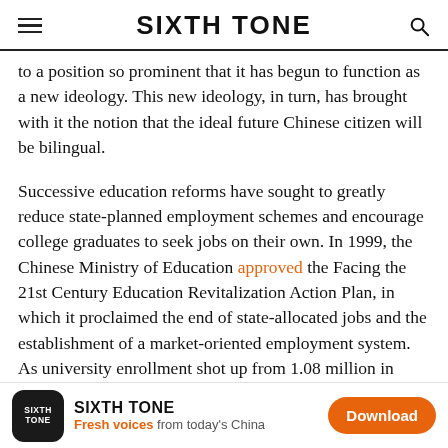SIXTH TONE
to a position so prominent that it has begun to function as a new ideology. This new ideology, in turn, has brought with it the notion that the ideal future Chinese citizen will be bilingual.
Successive education reforms have sought to greatly reduce state-planned employment schemes and encourage college graduates to seek jobs on their own. In 1999, the Chinese Ministry of Education approved the Facing the 21st Century Education Revitalization Action Plan, in which it proclaimed the end of state-allocated jobs and the establishment of a market-oriented employment system. As university enrollment shot up from 1.08 million in 1998 to 5.67 million in 2007, and the graduate unemployment rate continued to
SIXTH TONE
Fresh voices from today's China
Download